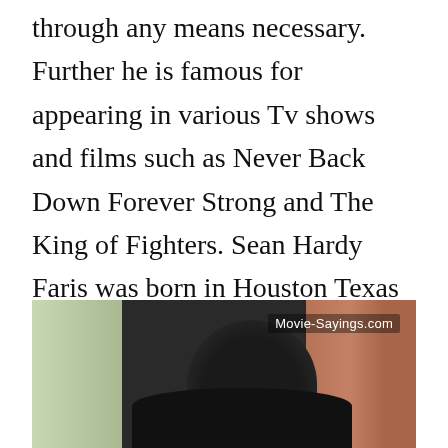through any means necessary. Further he is famous for appearing in various Tv shows and films such as Never Back Down Forever Strong and The King of Fighters. Sean Hardy Faris was born in Houston Texas to Katherine Miller and Warren Stephen Faris. He is famous for his work in Never Back Down The king of fighters and Forever Strong.
[Figure (photo): A blurred/bokeh photo showing a dark silhouette of a person's head and shoulders against a light green background on the left and warm reddish-pink background on the right. Watermark 'Movie-Sayings.com' in top right corner.]